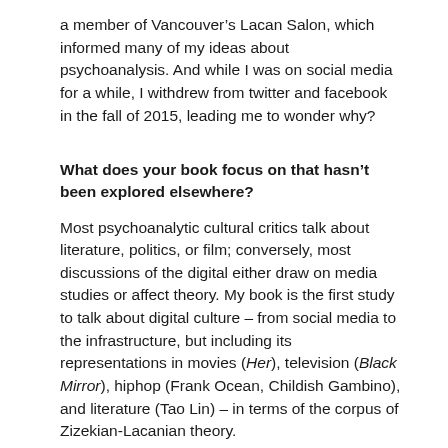a member of Vancouver’s Lacan Salon, which informed many of my ideas about psychoanalysis. And while I was on social media for a while, I withdrew from twitter and facebook in the fall of 2015, leading me to wonder why?
What does your book focus on that hasn’t been explored elsewhere?
Most psychoanalytic cultural critics talk about literature, politics, or film; conversely, most discussions of the digital either draw on media studies or affect theory. My book is the first study to talk about digital culture – from social media to the infrastructure, but including its representations in movies (Her), television (Black Mirror), hiphop (Frank Ocean, Childish Gambino), and literature (Tao Lin) – in terms of the corpus of Zizekian-Lacanian theory.
What initially drew you to Literary Studies?